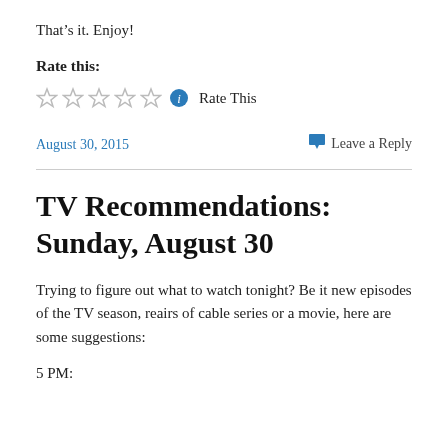That’s it. Enjoy!
Rate this:
[Figure (other): Five empty star rating icons followed by a blue info icon and the text 'Rate This']
August 30, 2015
Leave a Reply
TV Recommendations: Sunday, August 30
Trying to figure out what to watch tonight? Be it new episodes of the TV season, reairs of cable series or a movie, here are some suggestions:
5 PM: